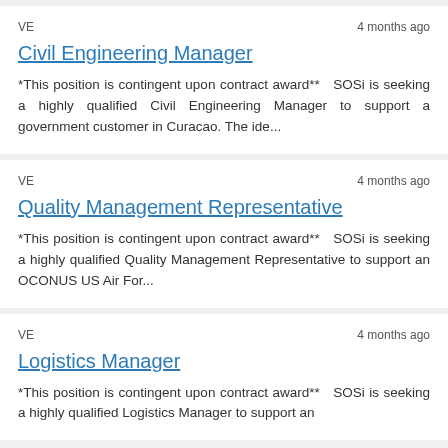VE | 4 months ago
Civil Engineering Manager
*This position is contingent upon contract award**  SOSi is seeking a highly qualified Civil Engineering Manager to support a government customer in Curacao. The ide...
VE | 4 months ago
Quality Management Representative
*This position is contingent upon contract award**  SOSi is seeking a highly qualified Quality Management Representative to support an OCONUS US Air For...
VE | 4 months ago
Logistics Manager
*This position is contingent upon contract award**  SOSi is seeking a highly qualified Logistics Manager to support an